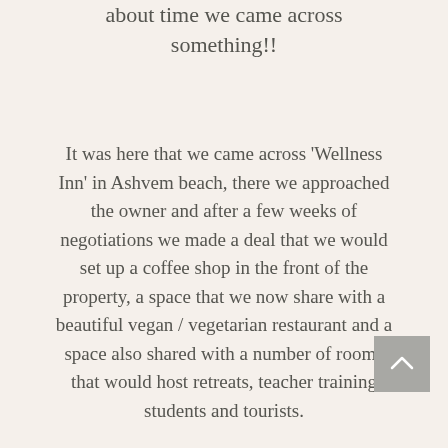about time we came across something!!
It was here that we came across 'Wellness Inn' in Ashvem beach, there we approached the owner and after a few weeks of negotiations we made a deal that we would set up a coffee shop in the front of the property, a space that we now share with a beautiful vegan / vegetarian restaurant and a space also shared with a number of rooms that would host retreats, teacher training students and tourists.